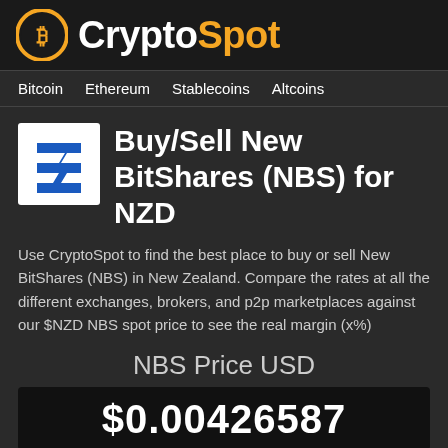CryptoSpot
Bitcoin  Ethereum  Stablecoins  Altcoins
Buy/Sell New BitShares (NBS) for NZD
Use CryptoSpot to find the best place to buy or sell New BitShares (NBS) in New Zealand. Compare the rates at all the different exchanges, brokers, and p2p marketplaces against our $NZD NBS spot price to see the real margin (x%)
NBS Price USD
$0.00426587
Data from CoinGecko